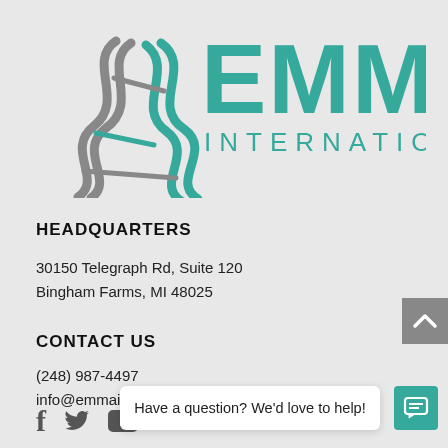[Figure (logo): EMMA International logo with stylized double-helix icon in grey/teal on the left and 'EMMA INTERNATIONAL' text in teal on the right]
HEADQUARTERS
30150 Telegraph Rd, Suite 120
Bingham Farms, MI 48025
CONTACT US
(248) 987-4497
info@emmainternational.com
Have a question? We'd love to help!